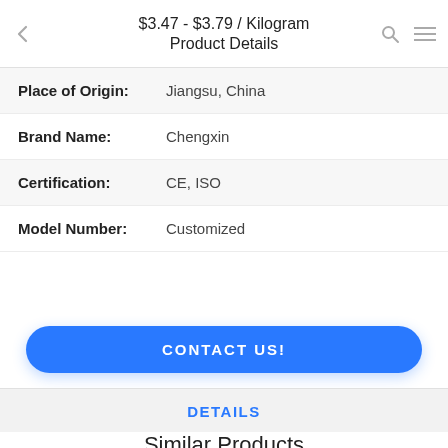$3.47 - $3.79 / Kilogram
Product Details
| Field | Value |
| --- | --- |
| Place of Origin: | Jiangsu, China |
| Brand Name: | Chengxin |
| Certification: | CE, ISO |
| Model Number: | Customized |
CONTACT US!
DETAILS
Similar Products
Double Herringbone